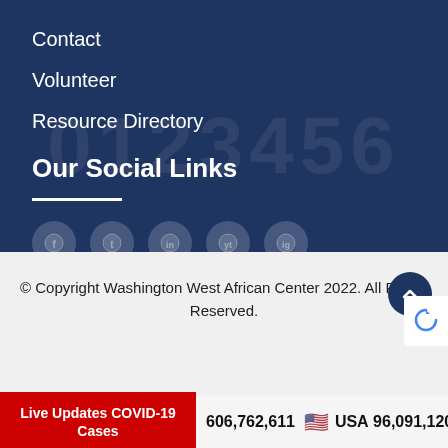Contact
Volunteer
Resource Directory
Our Social Links
[Figure (other): Horizontal white divider line under 'Our Social Links' heading]
[Figure (other): Row of semi-transparent circular social media icon placeholders on dark blue background]
© Copyright Washington West African Center 2022. All Rights Reserved.
Live Updates COVID-19 Cases
606,762,611   USA 96,091,120